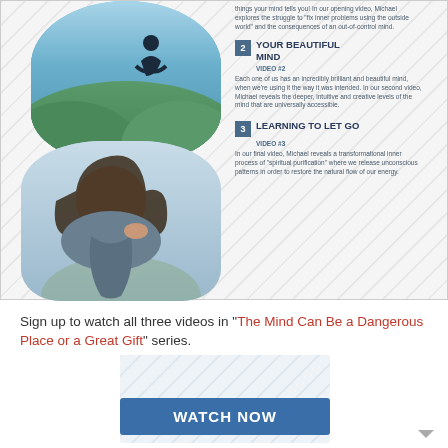[Figure (photo): Person meditating on mountain top with green valley below, and woman with eyes closed looking peaceful]
things your mind tells you! In our opening video, Michael explores the struggle to 'fix inner problems using the outside world' and the consequences of an out-of-control mind.
2 YOUR BEAUTIFUL MIND
VIDEO #2
Each one of us has an incredibly brilliant and beautiful mind, when we're using it the way it was intended. In our second video, Michael reveals the deeper, intuitive and creative levels of the mind that are universally accessible.
3 LEARNING TO LET GO
VIDEO #3
In our final video, Michael reveals a transformational inner process of "spiritual purification" where we release unconscious patterns in order to restore the natural flow of our energy.
Sign up to watch all three videos in "The Mind Can Be a Dangerous Place or a Great Gift" series.
[Figure (screenshot): Watch Now button on patterned background]